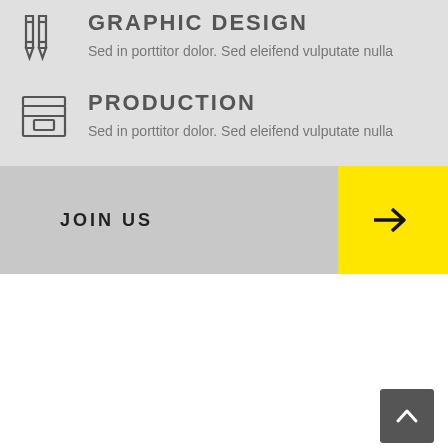[Figure (illustration): Graphic design icon - two pencil/tool shapes]
GRAPHIC DESIGN
Sed in porttitor dolor. Sed eleifend vulputate nulla
[Figure (illustration): Production icon - archive/box shape]
PRODUCTION
Sed in porttitor dolor. Sed eleifend vulputate nulla
JOIN US
[Figure (illustration): Back to top arrow button, dark grey square with upward arrow]